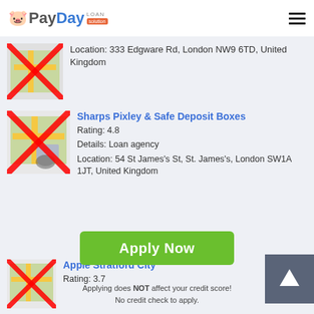PayDay Loan Solution
Location: 333 Edgware Rd, London NW9 6TD, United Kingdom
Sharps Pixley & Safe Deposit Boxes
Rating: 4.8
Details: Loan agency
Location: 54 St James's St, St. James's, London SW1A 1JT, United Kingdom
Apple Stratford City
Rating: 3.7
Apply Now
Applying does NOT affect your credit score!
No credit check to apply.